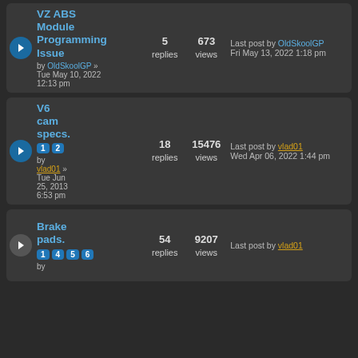VZ ABS Module Programming Issue | by OldSkoolGP | Tue May 10, 2022 12:13 pm | 5 replies | 673 views | Last post by OldSkoolGP Fri May 13, 2022 1:18 pm
V6 cam specs. [pages 1,2] | by vlad01 | Tue Jun 25, 2013 6:53 pm | 18 replies | 15476 views | Last post by vlad01 Wed Apr 06, 2022 1:44 pm
Brake pads. [pages 1,4,5,6] | by | 54 replies | 9207 views | Last post by vlad01